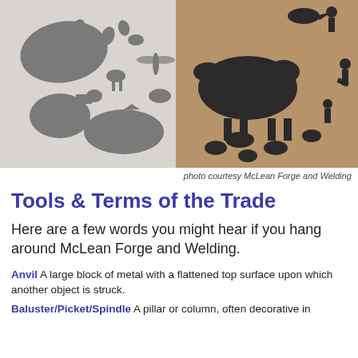[Figure (photo): Collection of metal cutout shapes of animals and figures — including a buffalo, deer, moose, rhinoceros, birds, a dragonfly, and human silhouettes — spread on a white surface and a brown cardboard surface, showing products of McLean Forge and Welding.]
photo courtesy McLean Forge and Welding
Tools & Terms of the Trade
Here are a few words you might hear if you hang around McLean Forge and Welding.
Anvil A large block of metal with a flattened top surface upon which another object is struck.
Baluster/Picket/Spindle A pillar or column, often decorative in